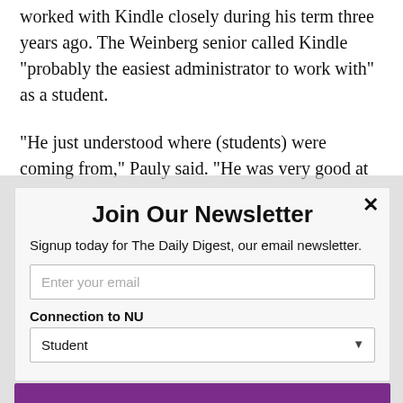worked with Kindle closely during his term three years ago. The Weinberg senior called Kindle “probably the easiest administrator to work with” as a student.
“He just understood where (students) were coming from,” Pauly said. “He was very good at finding the balance between what students wanted and what was best for the entire school.”
Join Our Newsletter
Signup today for The Daily Digest, our email newsletter.
Enter your email
Connection to NU
Student